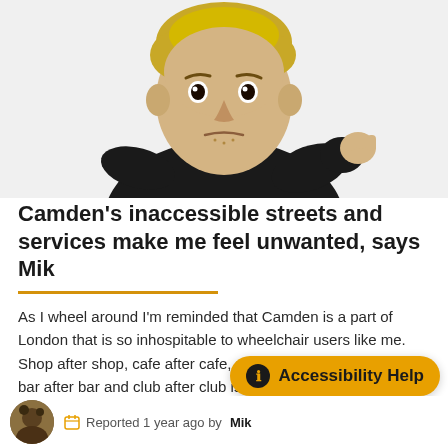[Figure (illustration): Cartoon/comic-style illustration of a young blonde man in a dark jacket, pointing forward with one hand, looking directly at viewer]
Camden's inaccessible streets and services make me feel unwanted, says Mik
As I wheel around I'm reminded that Camden is a part of London that is so inhospitable to wheelchair users like me. Shop after shop, cafe after cafe, restaurant after restaurant, bar after bar and club after club isn't accessible because I'm a wheelcha...
[Figure (other): Accessibility Help button overlay (orange rounded rectangle with info icon)]
[Figure (photo): Small circular avatar photo of Mik]
Reported 1 year ago by Mik